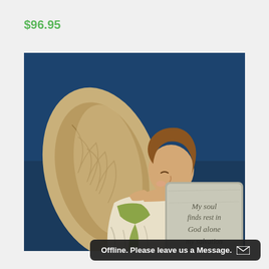$96.95
[Figure (photo): A decorative angel figurine leaning on a stone tablet engraved with the words 'My soul finds rest in God alone my salvation', photographed against a dark blue background.]
Offline. Please leave us a Message.